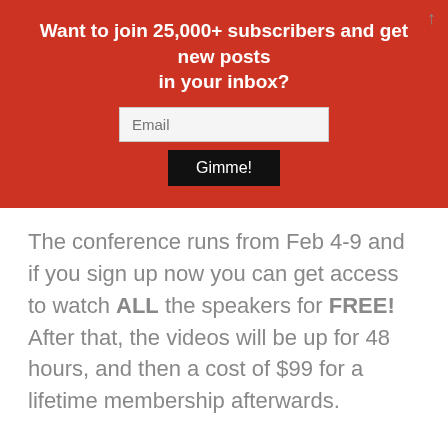Want to join 25,000+ subscribers and get new posts in your inbox?
The conference runs from Feb 4-9 and if you sign up now you can get access to watch ALL the speakers for FREE! After that, the videos will be up for 48 hours, and then a cost of $99 for a lifetime membership afterwards.